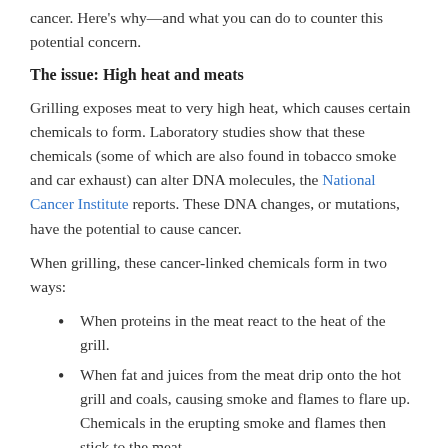cancer. Here’s why—and what you can do to counter this potential concern.
The issue: High heat and meats
Grilling exposes meat to very high heat, which causes certain chemicals to form. Laboratory studies show that these chemicals (some of which are also found in tobacco smoke and car exhaust) can alter DNA molecules, the National Cancer Institute reports. These DNA changes, or mutations, have the potential to cause cancer.
When grilling, these cancer-linked chemicals form in two ways:
When proteins in the meat react to the heat of the grill.
When fat and juices from the meat drip onto the hot grill and coals, causing smoke and flames to flare up. Chemicals in the erupting smoke and flames then stick to the meat.
There’s another way grilling is linked to cancer: Cookouts